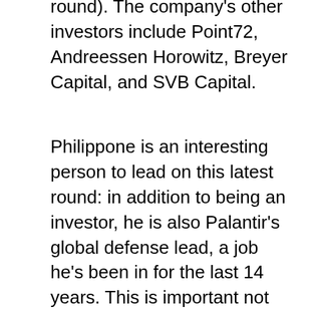round). The company's other investors include Point72, Andreessen Horowitz, Breyer Capital, and SVB Capital.
Philippone is an interesting person to lead on this latest round: in addition to being an investor, he is also Palantir's global defense lead, a job he's been in for the last 14 years. This is important not least because Palantir arguably was one of the key companies to change the game for how startups, spurred by the tech boom out of Silicon Valley, both engaged and started to win defense contracts and raised huge sums from VCs to fuel that growth.
Another influential startup changing the conversation around funding defense tech is